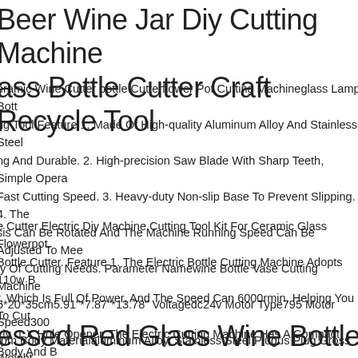Beer Wine Jar Diy Cutting Machine ass Bottle Cutter Craft Recycle Tool
eramic Wine Cutter bottle Cutterflower Pot Cutting Machineglass Lamp Bottle ng Tool Feature 1. Made Of High-quality Aluminum Alloy And Stainless Steel ng And Durable. 2. High-precision Saw Blade With Sharp Teeth, Simple Opera Fast Cutting Speed. 3. Heavy-duty Non-slip Base To Prevent Slipping. 4. The sis Can Be Rotated And The Machine Running Speed Can Be Adjusted To Mee ty Of Cutting Needs. Parameter Namewine Bottle Vase Cutting Machine 5*20*35cm5.91"*7.87"*13.78" Voltagedc24v Motor Type795 Motor Speed300 rpm Body Materialaluminum Alloy, Stainless Steel Plugus Plug Gross Weight ng List 1*cutting Machine 1*power Cord 1*tool Set 1*saw Blade.
e Cutter Electric Diy Machine Cutting Tool Kit For Ceramic Glass Flowerpot. Bottle Cutter. Feature 1. The Electric Bottle Cutting Machine Adopts 110w B r, Which Is Full Of Power, And The Speed Can 6000rmin, Helping You To Cut kly. 1 X Hole Opener. The Electric Cutting Machine Has A Compact Body And B arry.
essed Red Glass Wine Bottle Tray+